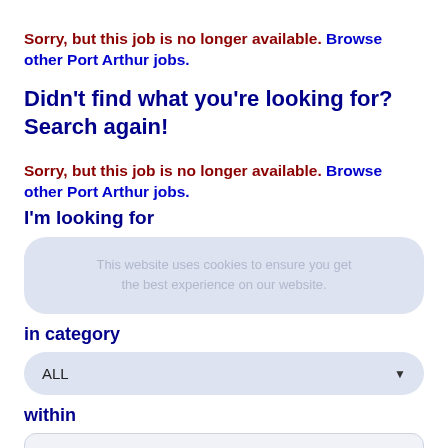Sorry, but this job is no longer available. Browse other Port Arthur jobs.
Didn't find what you're looking for? Search again!
Sorry, but this job is no longer available. Browse other Port Arthur jobs.
I'm looking for
This website uses cookies to ensure you get the best experience on our website.
in category
ALL
within
100 Miles of Port Arthur